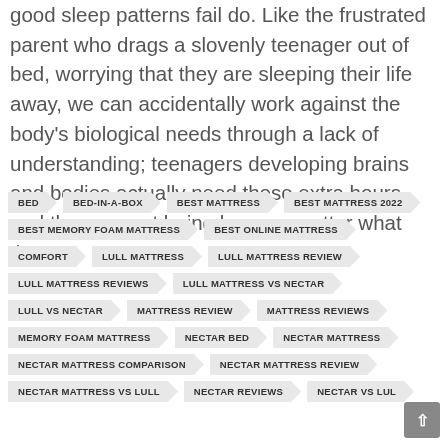good sleep patterns fail do. Like the frustrated parent who drags a slovenly teenager out of bed, worrying that they are sleeping their life away, we can accidentally work against the body's biological needs through a lack of understanding; teenagers developing brains and bodies actually need those extra hours, and they are not being lazy, no matter what the...
BED
BED-IN-A-BOX
BEST MATTRESS
BEST MATTRESS 2022
BEST MEMORY FOAM MATTRESS
BEST ONLINE MATTRESS
COMFORT
LULL MATTRESS
LULL MATTRESS REVIEW
LULL MATTRESS REVIEWS
LULL MATTRESS VS NECTAR
LULL VS NECTAR
MATTRESS REVIEW
MATTRESS REVIEWS
MEMORY FOAM MATTRESS
NECTAR BED
NECTAR MATTRESS
NECTAR MATTRESS COMPARISON
NECTAR MATTRESS REVIEW
NECTAR MATTRESS VS LULL
NECTAR REVIEWS
NECTAR VS LUL